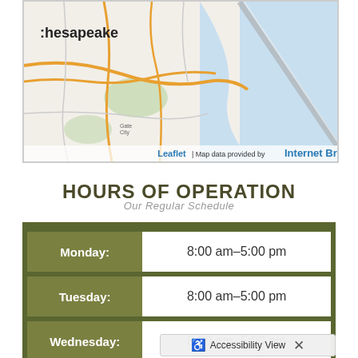[Figure (map): Street map showing Chesapeake area with roads, waterways, and coastline. Attribution: Leaflet | Map data provided by Internet Brands]
HOURS OF OPERATION
Our Regular Schedule
| Day | Hours |
| --- | --- |
| Monday: | 8:00 am–5:00 pm |
| Tuesday: | 8:00 am–5:00 pm |
| Wednesday: | 8:00 am–5:00 pm |
| Thursday: | 8:00 am–5:00 pm |
Accessibility View